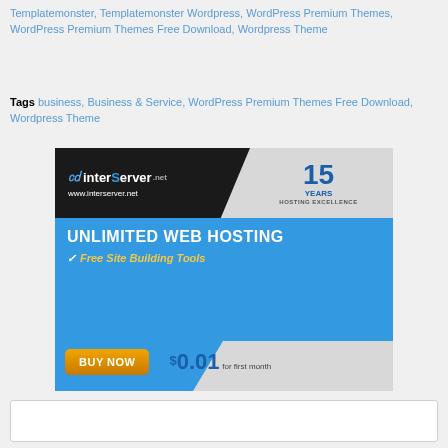Templatemonster, Templatemonster Wordpress, WordPress Premium Themes, WordPress Premium Themes Free Download, Wordpress Theme
Tags business, Business & Service, WordPress Premium Themes Free Download, Wordpress Theme
[Figure (infographic): InterServer.net web hosting advertisement. Shows logo, '15 Years Hosting Excellence', 'Unlimited Web Hosting', 'Free Site Building Tools', 'BUY NOW' button, '$0.01 for first month']